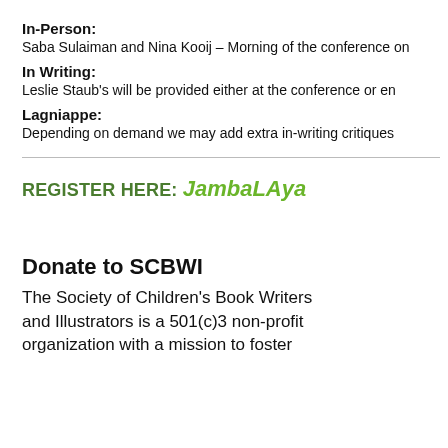In-Person:
Saba Sulaiman and Nina Kooij – Morning of the conference on
In Writing:
Leslie Staub's will be provided either at the conference or en
Lagniappe:
Depending on demand we may add extra in-writing critiques
REGISTER HERE: JambaLAya
Donate to SCBWI
The Society of Children's Book Writers and Illustrators is a 501(c)3 non-profit organization with a mission to foster